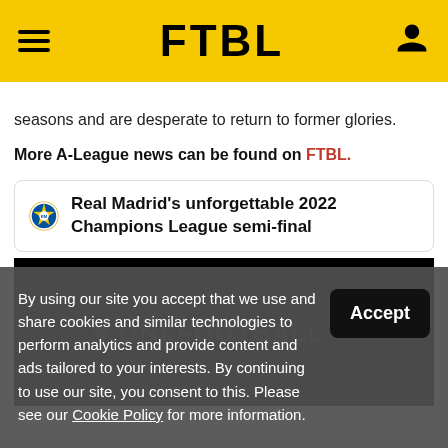FTBL
seasons and are desperate to return to former glories.
More A-League news can be found on FTBL.
Real Madrid's unforgettable 2022 Champions League semi-final
[Figure (screenshot): Black video player area with ONEFOOTBALL watermark]
By using our site you accept that we use and share cookies and similar technologies to perform analytics and provide content and ads tailored to your interests. By continuing to use our site, you consent to this. Please see our Cookie Policy for more information.